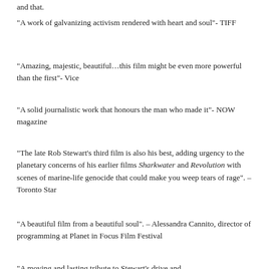and that.
“A work of galvanizing activism rendered with heart and soul”- TIFF
“Amazing, majestic, beautiful…this film might be even more powerful than the first”- Vice
“A solid journalistic work that honours the man who made it”- NOW magazine
“The late Rob Stewart’s third film is also his best, adding urgency to the planetary concerns of his earlier films Sharkwater and Revolution with scenes of marine-life genocide that could make you weep tears of rage”. – Toronto Star
“A beautiful film from a beautiful soul”. –  Alessandra Cannito, director of programming at Planet in Focus Film Festival
“A moving and lasting tribute to Stewart’s drive and